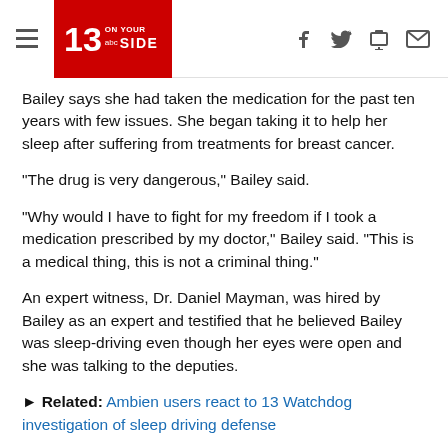13 ON YOUR SIDE abc
Bailey says she had taken the medication for the past ten years with few issues. She began taking it to help her sleep after suffering from treatments for breast cancer.
"The drug is very dangerous," Bailey said.
"Why would I have to fight for my freedom if I took a medication prescribed by my doctor," Bailey said. "This is a medical thing, this is not a criminal thing."
An expert witness, Dr. Daniel Mayman, was hired by Bailey as an expert and testified that he believed Bailey was sleep-driving even though her eyes were open and she was talking to the deputies.
► Related: Ambien users react to 13 Watchdog investigation of sleep driving defense
"The problem is the higher functions of the brain where our judgement comes from are not working well, they're only